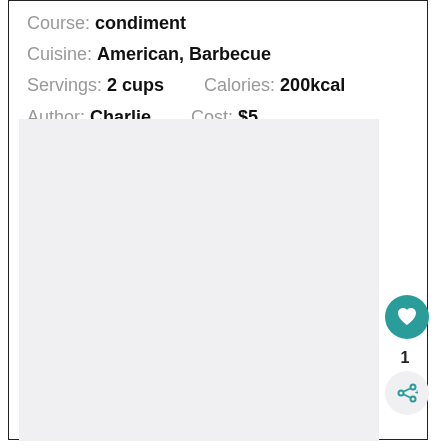Course: condiment
Cuisine: American, Barbecue
Servings: 2 cups    Calories: 200kcal
Author: Charlie    Cost: $5
[Figure (photo): Empty light gray image placeholder area below the recipe metadata]